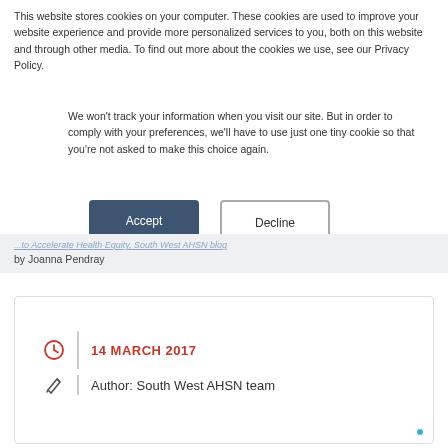This website stores cookies on your computer. These cookies are used to improve your website experience and provide more personalized services to you, both on this website and through other media. To find out more about the cookies we use, see our Privacy Policy.
We won't track your information when you visit our site. But in order to comply with your preferences, we'll have to use just one tiny cookie so that you're not asked to make this choice again.
Accept
Decline
by Joanna Pendray
14 MARCH 2017
Author: South West AHSN team